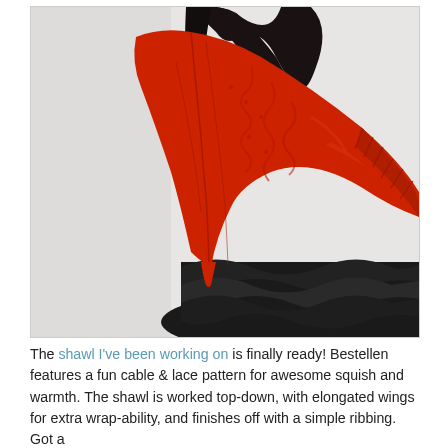[Figure (photo): A woman seen from behind/side wearing a red knitted shawl with cable and lace pattern over a black ruffled skirt. The shawl is triangular with ribbing along the edge. Background is light grey/white.]
The shawl I've been working on is finally ready! Bestellen features a fun cable & lace pattern for awesome squish and warmth. The shawl is worked top-down, with elongated wings for extra wrap-ability, and finishes off with a simple ribbing. Got a